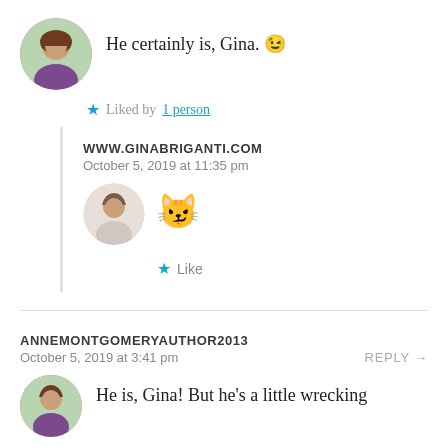He certainly is, Gina. 😉
★ Liked by 1 person
WWW.GINABRIGANTI.COM
October 5, 2019 at 11:35 pm
😼
★ Like
ANNEMONTGOMERYAUTHOR2013
October 5, 2019 at 3:41 pm
REPLY →
He is, Gina! But he's a little wrecking